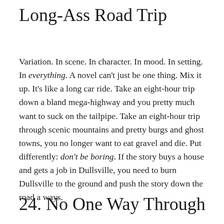Long-Ass Road Trip
Variation. In scene. In character. In mood. In setting. In everything. A novel can't just be one thing. Mix it up. It's like a long car ride. Take an eight-hour trip down a bland mega-highway and you pretty much want to suck on the tailpipe. Take an eight-hour trip through scenic mountains and pretty burgs and ghost towns, you no longer want to eat gravel and die. Put differently: don't be boring. If the story buys a house and gets a job in Dullsville, you need to burn Dullsville to the ground and push the story down the road a ways.
24. No One Way Through